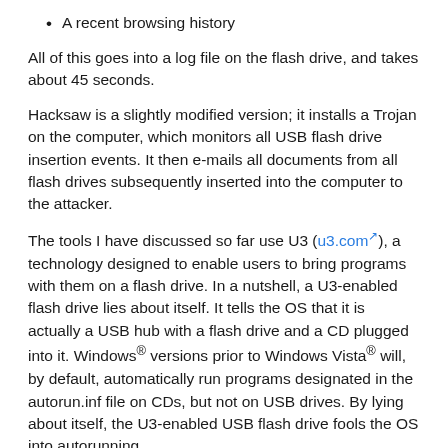A recent browsing history
All of this goes into a log file on the flash drive, and takes about 45 seconds.
Hacksaw is a slightly modified version; it installs a Trojan on the computer, which monitors all USB flash drive insertion events. It then e-mails all documents from all flash drives subsequently inserted into the computer to the attacker.
The tools I have discussed so far use U3 (u3.com), a technology designed to enable users to bring programs with them on a flash drive. In a nutshell, a U3-enabled flash drive lies about itself. It tells the OS that it is actually a USB hub with a flash drive and a CD plugged into it. Windows® versions prior to Windows Vista® will, by default, automatically run programs designated in the autorun.inf file on CDs, but not on USB drives. By lying about itself, the U3-enabled USB flash drive fools the OS into autorunning